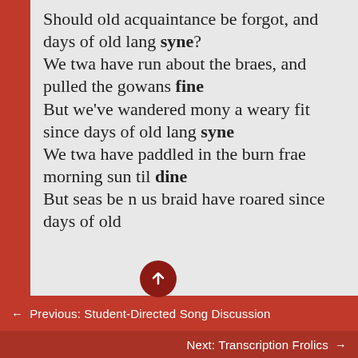Should old acquaintance be forgot, and days of old lang syne? We twa have run about the braes, and pulled the gowans fine But we've wandered mony a weary fit since days of old lang syne We twa have paddled in the burn frae morning sun til dine But seas beet'n us braid have roared since days of old
← Previous: Student-Directed Song Discussion
Next: Transcription Frolics →